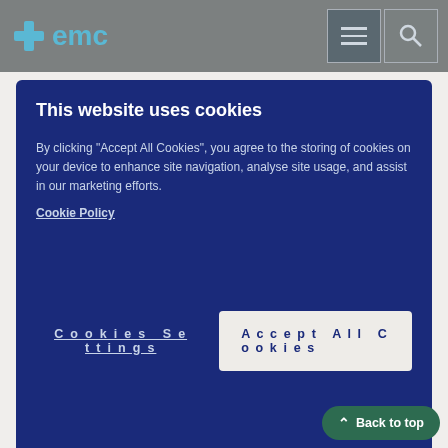emc
[Figure (screenshot): Cookie consent banner with dark blue background, title 'This website uses cookies', body text about cookies, Cookie Policy link, Cookies Settings and Accept All Cookies buttons]
Each 125 mg capsule contains 125 mg of aprepitant
Each 80 mg capsule contains 80 mg of aprepitant
The other ingredients are hypromellose, poloxamer, sucrose, microcrystalline cellulose, gelatin, sodium laurilsulfate (E487), titanium dioxide (E171), shellac, iron oxide black (E172), propylene glycol (E1520). The 125 mg capsule also contains iron oxide red (E172).
What aprepitant looks like and contents of the pack:
The 125 mg hard capsules are presented as opaque hard capsules of size No.1, with a pink cap and white body, imprinted in